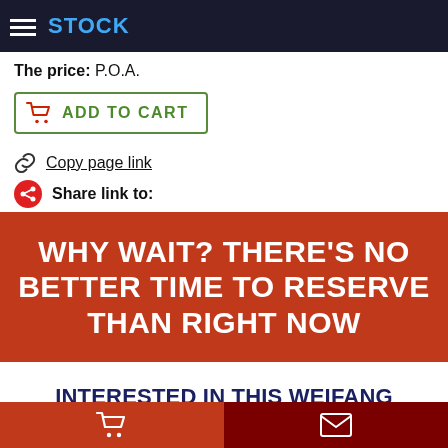STOCK
The price: P.O.A.
ADD TO CART
Copy page link
Share link to:
WHY WAIT? THERE'S NO BETTER TIME TO RESERVE THAN RIGHT NOW
INTERESTED IN THIS WEIFANG RICARDO DIESEL GENSET HTR 160GF